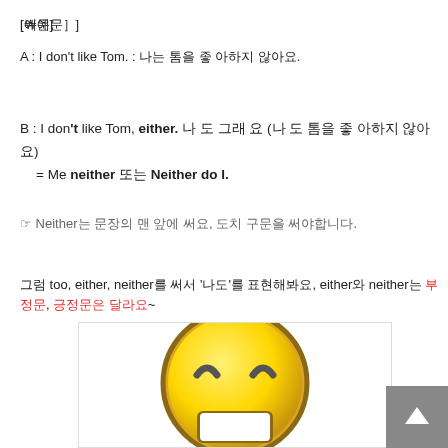[예문]
A : I don't like Tom. : 나는 톰을 좋 아하지 않아요.
B : I don't like Tom, either. 나 도 그래 요 (나 도 톰을 좋 아하지 않아요)
= Me neither 또는 Neither do I.
☞ Neither는 문장의 맨 앞에 써요, 도치 구문을 써야합니다.
그럼 too, either, neither를 써서 '나도'를 표현해봐요, either와 neither는 부정문, 긍정문은 달라요~
[Figure (illustration): Smiling emoji face with squinting eyes, yellow circular face, partially visible]